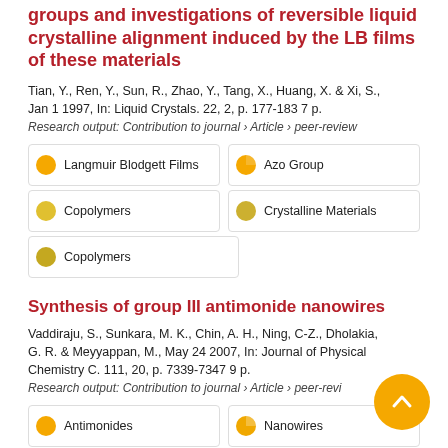groups and investigations of reversible liquid crystalline alignment induced by the LB films of these materials
Tian, Y., Ren, Y., Sun, R., Zhao, Y., Tang, X., Huang, X. & Xi, S., Jan 1 1997, In: Liquid Crystals. 22, 2, p. 177-183 7 p.
Research output: Contribution to journal › Article › peer-review
Langmuir Blodgett Films
Azo Group
Copolymers
Crystalline Materials
Copolymers
Synthesis of group III antimonide nanowires
Vaddiraju, S., Sunkara, M. K., Chin, A. H., Ning, C-Z., Dholakia, G. R. & Meyyappan, M., May 24 2007, In: Journal of Physical Chemistry C. 111, 20, p. 7339-7347 9 p.
Research output: Contribution to journal › Article › peer-review
Antimonides
Nanowires
Nanowire
Nanowires